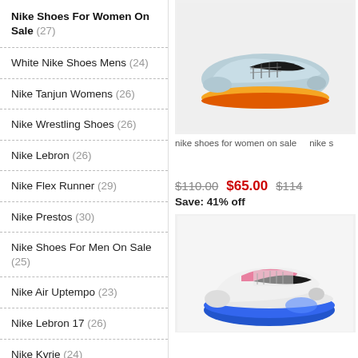Nike Shoes For Women On Sale (27)
White Nike Shoes Mens (24)
Nike Tanjun Womens (26)
Nike Wrestling Shoes (26)
Nike Lebron (26)
Nike Flex Runner (29)
Nike Prestos (30)
Nike Shoes For Men On Sale (25)
Nike Air Uptempo (23)
Nike Lebron 17 (26)
Nike Kyrie (24)
Www Nike Com (25)
Nike Boys Basketball Shoes (28)
Nike Toddler Boy Shoes (23)
Nike Air Max 97 White (22)
[Figure (photo): Nike running shoe with light blue upper and yellow/orange sole, shown on light gray background]
nike shoes for women on sale   nike s
$110.00  $65.00  $114...  Save: 41% off
[Figure (photo): Nike Air Max 270 React shoe in white/pink/blue colorway on light gray background]